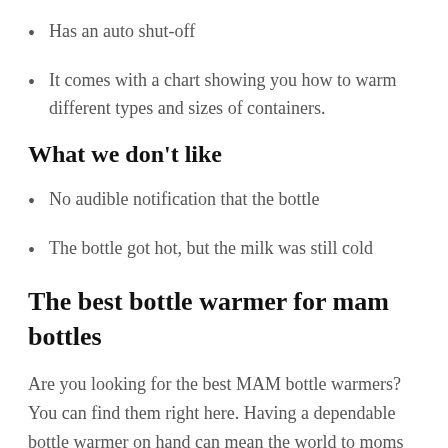Has an auto shut-off
It comes with a chart showing you how to warm different types and sizes of containers.
What we don't like
No audible notification that the bottle
The bottle got hot, but the milk was still cold
The best bottle warmer for mam bottles
Are you looking for the best MAM bottle warmers? You can find them right here. Having a dependable bottle warmer on hand can mean the world to moms who need to satisfy their